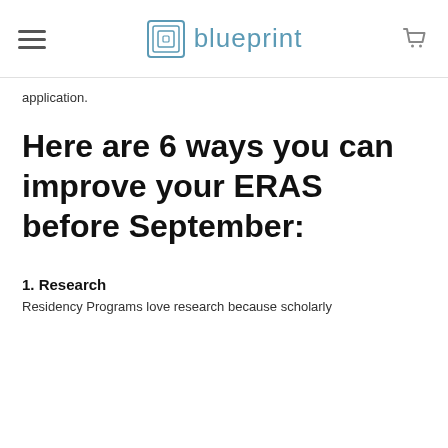blueprint
application.
Here are 6 ways you can improve your ERAS before September:
1. Research
Residency Programs love research because scholarly